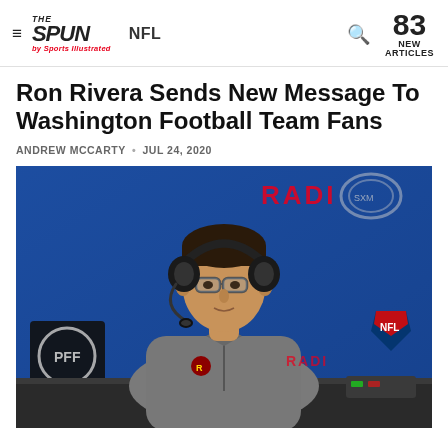THE SPUN by Sports Illustrated  NFL  83 NEW ARTICLES
Ron Rivera Sends New Message To Washington Football Team Fans
ANDREW MCCARTY • JUL 24, 2020
[Figure (photo): Ron Rivera wearing a grey Washington Redskins zip-up jacket and headset with microphone, sitting at a broadcast desk with NFL Radio branding in the background on a blue backdrop. PFF logo visible on left.]